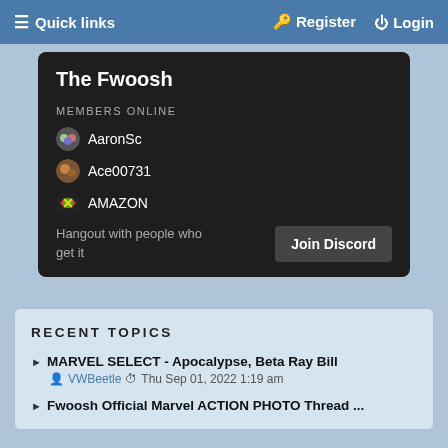≡ Quick links   Register   Login
[Figure (screenshot): Discord widget for The Fwoosh community showing members online: AaronSc, Ace00731, AMAZON, with Join Discord button and tagline 'Hangout with people who get it']
RECENT TOPICS
MARVEL SELECT - Apocalypse, Beta Ray Bill — VWBeetle · Thu Sep 01, 2022 1:19 am
Fwoosh Official Marvel ACTION PHOTO Thread ...